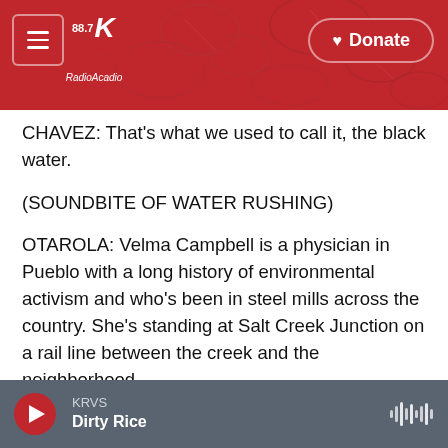[Figure (screenshot): KRVS 88.7 radio station website header banner with red floral background, hamburger menu button, station logo, and Donate button]
CHAVEZ: That's what we used to call it, the black water.
(SOUNDBITE OF WATER RUSHING)
OTAROLA: Velma Campbell is a physician in Pueblo with a long history of environmental activism and who's been in steel mills across the country. She's standing at Salt Creek Junction on a rail line between the creek and the neighborhood.
VELMA CAMPBELL: We have an industrial legacy in this community of which we're rightly proud, but we
KRVS
Dirty Rice